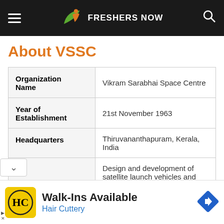FRESHERS NOW
About VSSC
|  |  |
| --- | --- |
| Organization Name | Vikram Sarabhai Space Centre |
| Year of Establishment | 21st November 1963 |
| Headquarters | Thiruvananthapuram, Kerala, India |
| ...try | Design and development of satellite launch vehicles and associated |
[Figure (infographic): Advertisement banner: Walk-Ins Available - Hair Cuttery with HC logo and navigation icon]